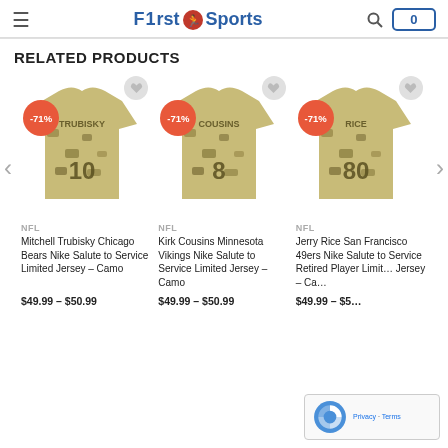F1rst Sports
RELATED PRODUCTS
[Figure (photo): Mitchell Trubisky Chicago Bears Nike Salute to Service Limited Jersey camo product image with -71% discount badge]
NFL
Mitchell Trubisky Chicago Bears Nike Salute to Service Limited Jersey – Camo
$49.99 – $50.99
[Figure (photo): Kirk Cousins Minnesota Vikings Nike Salute to Service Limited Jersey camo product image with -71% discount badge]
NFL
Kirk Cousins Minnesota Vikings Nike Salute to Service Limited Jersey – Camo
$49.99 – $50.99
[Figure (photo): Jerry Rice San Francisco 49ers Nike Salute to Service Retired Player Limited Jersey camo product image with -71% discount badge]
NFL
Jerry Rice San Francisco 49ers Nike Salute to Service Retired Player Limited Jersey – Camo
$49.99 – $50.99